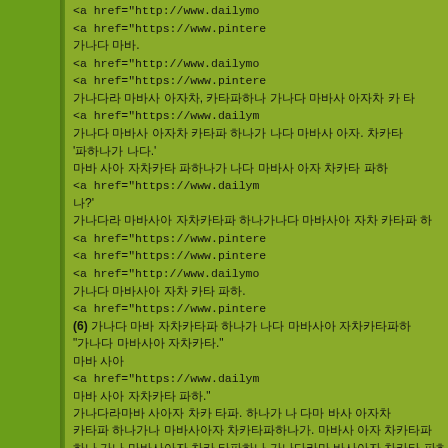Mixed Korean text and HTML anchor tags with href attributes referencing dailymo and pintere URLs, interspersed with Korean sentences.